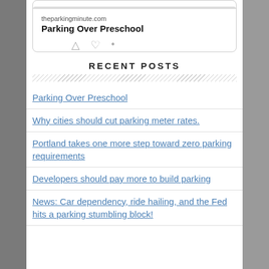[Figure (screenshot): Social media card preview showing theparkingminute.com and title 'Parking Over Preschool' with action icons below]
RECENT POSTS
Parking Over Preschool
Why cities should cut parking meter rates.
Portland takes one more step toward zero parking requirements
Developers should pay more to build parking
News: Car dependency, ride hailing, and the Fed hits a parking stumbling block!